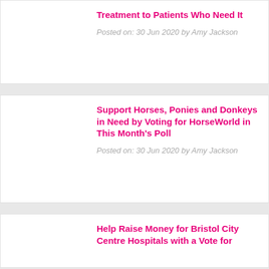Treatment to Patients Who Need It
Posted on: 30 Jun 2020 by Amy Jackson
Support Horses, Ponies and Donkeys in Need by Voting for HorseWorld in This Month's Poll
Posted on: 30 Jun 2020 by Amy Jackson
Help Raise Money for Bristol City Centre Hospitals with a Vote for